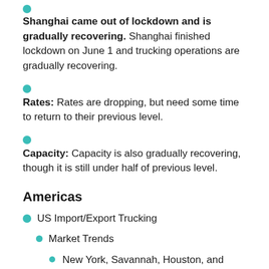Shanghai came out of lockdown and is gradually recovering. Shanghai finished lockdown on June 1 and trucking operations are gradually recovering.
Rates: Rates are dropping, but need some time to return to their previous level.
Capacity: Capacity is also gradually recovering, though it is still under half of previous level.
Americas
US Import/Export Trucking
Market Trends
New York, Savannah, Houston, and Norfolk ports all saw vessels at anchor during May; increased volumes have caused chassis shortages and